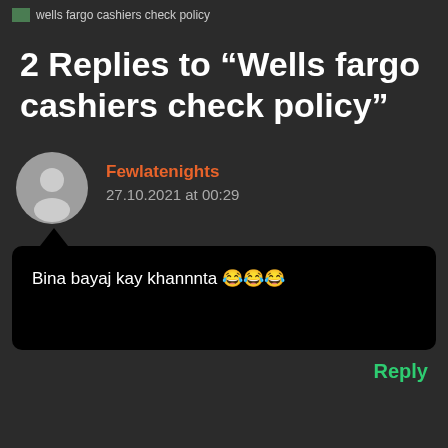wells fargo cashiers check policy
2 Replies to “Wells fargo cashiers check policy”
Fewlatenights
27.10.2021 at 00:29
Bina bayaj kay khannnta 😂😂😂
Reply